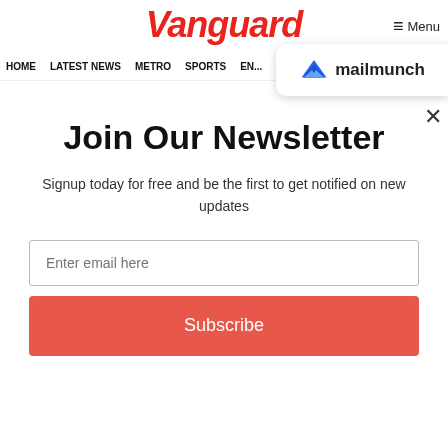Vanguard
≡ Menu
mailmunch
HOME  LATEST NEWS  METRO  SPORTS  EN... VID...
Join Our Newsletter
Signup today for free and be the first to get notified on new updates
Enter email here
Subscribe